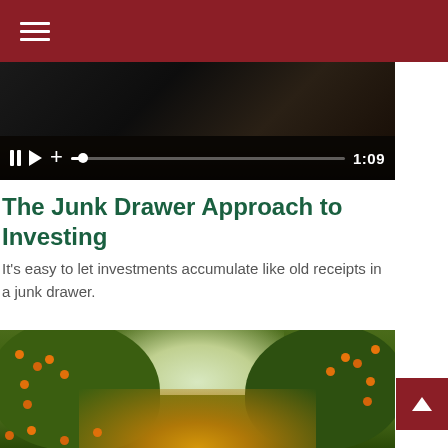[Figure (screenshot): Dark red navigation bar with hamburger menu icon (three white horizontal lines)]
[Figure (screenshot): Video player with dark background showing media controls: pause button, play button, add button, progress bar at start, and time display showing 1:09]
The Junk Drawer Approach to Investing
It's easy to let investments accumulate like old receipts in a junk drawer.
[Figure (photo): Photograph of orange citrus trees with fruit visible, green foliage, and a bright sky visible between the trees]
[Figure (screenshot): Dark red back-to-top button with white upward chevron arrow]